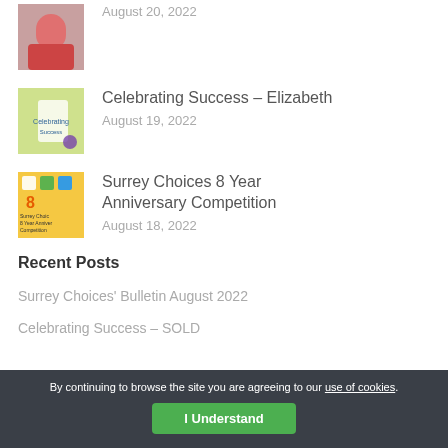[Figure (photo): Thumbnail image of person in red clothing]
August 20, 2022
[Figure (photo): Thumbnail image with 'Celebrating Success' book/award]
Celebrating Success – Elizabeth
August 19, 2022
[Figure (photo): Thumbnail image for Surrey Choices 8 Year Anniversary Competition]
Surrey Choices 8 Year Anniversary Competition
August 18, 2022
Recent Posts
Surrey Choices' Bulletin August 2022
Celebrating Success – SOLD
By continuing to browse the site you are agreeing to our use of cookies.
I Understand